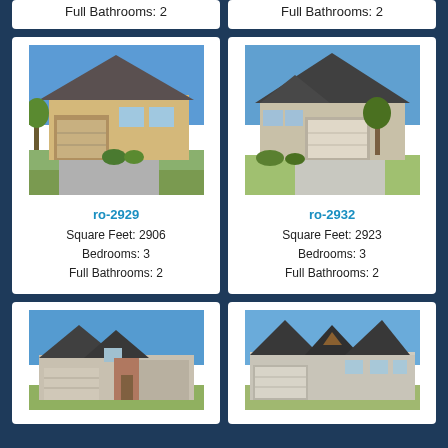Full Bathrooms: 2
Full Bathrooms: 2
[Figure (photo): Exterior photo of house ro-2929, single-story home with attached garage and landscaping]
ro-2929
Square Feet: 2906
Bedrooms: 3
Full Bathrooms: 2
[Figure (photo): Exterior photo of house ro-2932, single-story home with attached garage and landscaping]
ro-2932
Square Feet: 2923
Bedrooms: 3
Full Bathrooms: 2
[Figure (photo): Exterior photo of a two-story house with brick facade and garage]
[Figure (photo): Exterior photo of a two-story craftsman-style house]